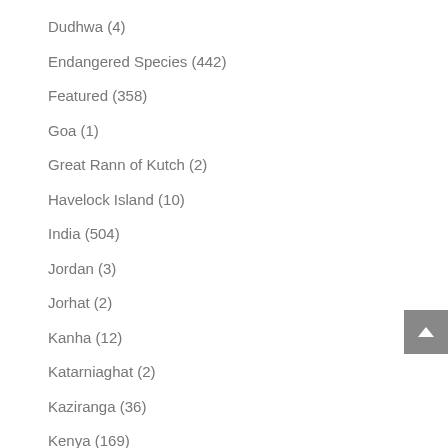Dudhwa (4)
Endangered Species (442)
Featured (358)
Goa (1)
Great Rann of Kutch (2)
Havelock Island (10)
India (504)
Jordan (3)
Jorhat (2)
Kanha (12)
Katarniaghat (2)
Kaziranga (36)
Kenya (169)
Ladakh (15)
Lake Manyara (2)